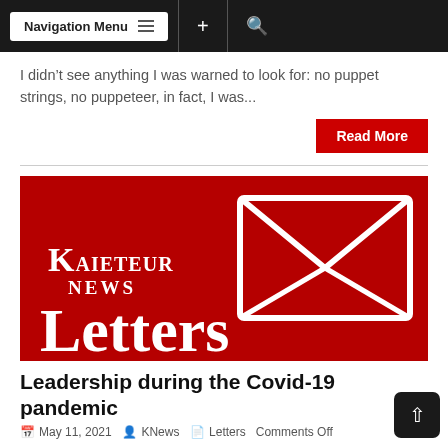Navigation Menu
I didn't see anything I was warned to look for: no puppet strings, no puppeteer, in fact, I was...
Read More
[Figure (logo): Kaieteur News Letters logo — red background with white envelope icon and 'KAIETEUR NEWS Letters' text in white]
Leadership during the Covid-19 pandemic
May 11, 2021  KNews  Letters  Comments Off
Dear Editor, Your editorial (May 10, 2021) is